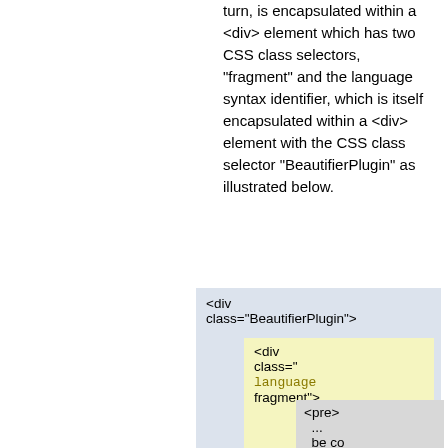turn, is encapsulated within a <div> element which has two CSS class selectors, "fragment" and the language syntax identifier, which is itself encapsulated within a <div> element with the CSS class selector "BeautifierPlugin" as illustrated below.
[Figure (illustration): Nested div structure diagram showing: outer blue-gray box with '<div class="BeautifierPlugin">', inner yellow box with '<div class=" language fragment">', and innermost gray box with '<pre> ... be co']